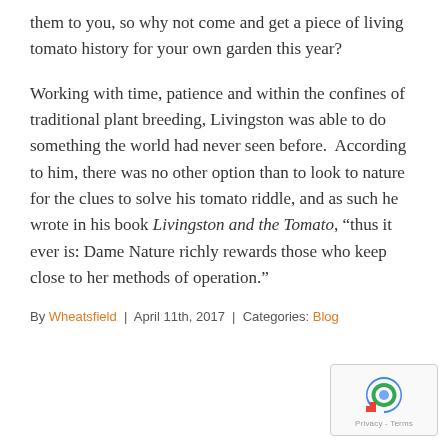them to you, so why not come and get a piece of living tomato history for your own garden this year?
Working with time, patience and within the confines of traditional plant breeding, Livingston was able to do something the world had never seen before.  According to him, there was no other option than to look to nature for the clues to solve his tomato riddle, and as such he wrote in his book Livingston and the Tomato, “thus it ever is: Dame Nature richly rewards those who keep close to her methods of operation.”
By Wheatsfield | April 11th, 2017 | Categories: Blog